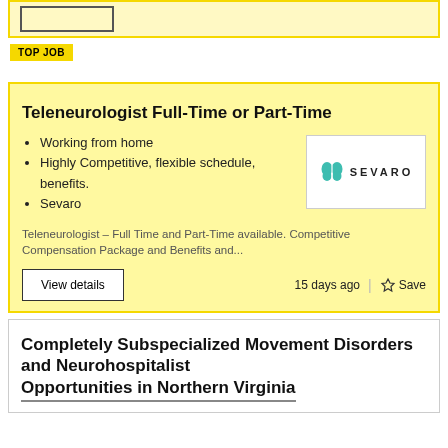[Figure (other): Yellow card strip at top with a small outlined rectangle (truncated card)]
TOP JOB
Teleneurologist Full-Time or Part-Time
Working from home
Highly Competitive, flexible schedule, benefits.
Sevaro
[Figure (logo): Sevaro company logo: teal brain icon and SEVARO text in bold spaced letters]
Teleneurologist – Full Time and Part-Time available. Competitive Compensation Package and Benefits and...
View details
15 days ago
Save
Completely Subspecialized Movement Disorders and Neurohospitalist Opportunities in Northern Virginia